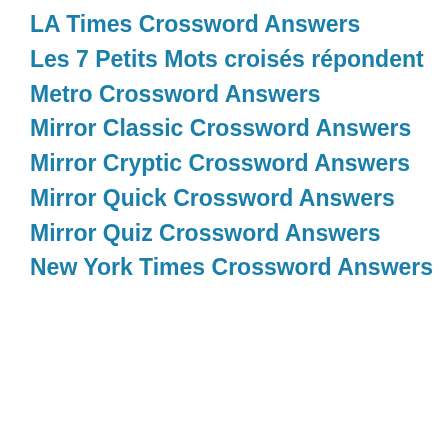LA Times Crossword Answers
Les 7 Petits Mots croisés répondent
Metro Crossword Answers
Mirror Classic Crossword Answers
Mirror Cryptic Crossword Answers
Mirror Quick Crossword Answers
Mirror Quiz Crossword Answers
New York Times Crossword Answers